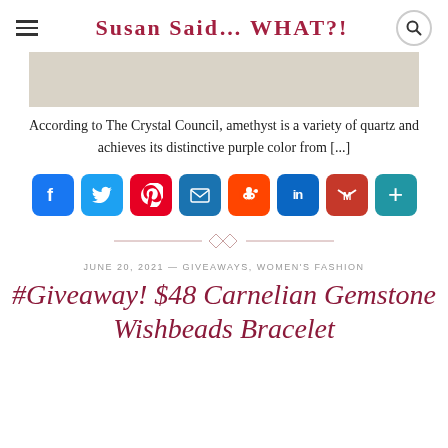Susan Said… WHAT?!
[Figure (photo): Tan/beige colored image placeholder at the top of the article]
According to The Crystal Council, amethyst is a variety of quartz and achieves its distinctive purple color from [...]
[Figure (infographic): Row of social sharing buttons: Facebook, Twitter, Pinterest, Email, Reddit, LinkedIn, Gmail, More]
[Figure (illustration): Decorative divider with diamond/chevron ornament and horizontal lines]
JUNE 20, 2021 — GIVEAWAYS, WOMEN'S FASHION
#Giveaway! $48 Carnelian Gemstone Wishbeads Bracelet